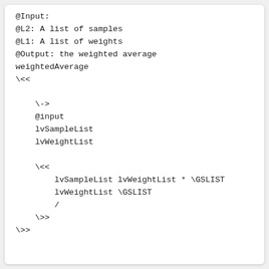@Input:
@L2: A list of samples
@L1: A list of weights
@Output: the weighted average
weightedAverage
\<<

    \->
    @input
    lvSampleList
    lvWeightList

    \<<
        lvSampleList lvWeightList * \GSLIST
        lvWeightList \GSLIST
        /
    \>>
\>>